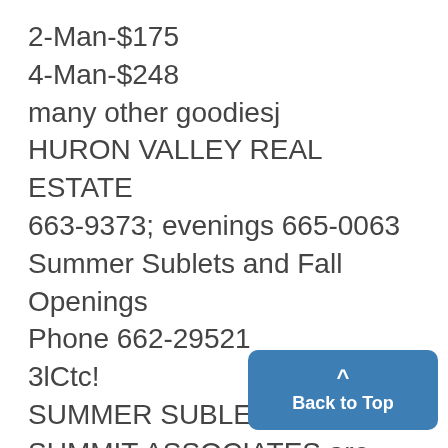2-Man-$175
4-Man-$248
many other goodiesj
HURON VALLEY REAL ESTATE
663-9373; evenings 665-0063
Summer Sublets and Fall Openings
Phone 662-29521
3lCtc!
SUMMER SUBLET
SUMMIT ASSOCIATES are waiting to help you find an apt. for the summer. Excellent locations and FALL OPTIONS are available. AIR CONDITIONING is just one of the stan